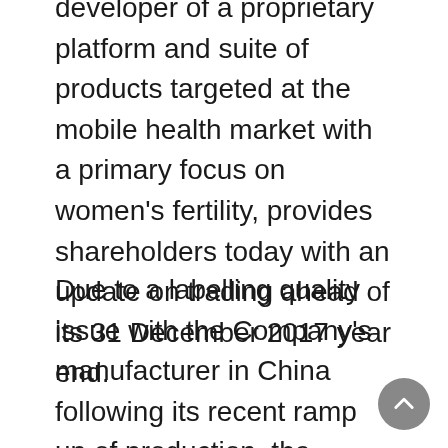developer of a proprietary platform and suite of products targeted at the mobile health market with a primary focus on women's fertility, provides shareholders today with an update on trading ahead of its 31 December 2017 year end.
Due to a labelling quality issue with the Company's manufacturer in China following its recent ramp up of production, the Company did not receive sufficient monitors to meet